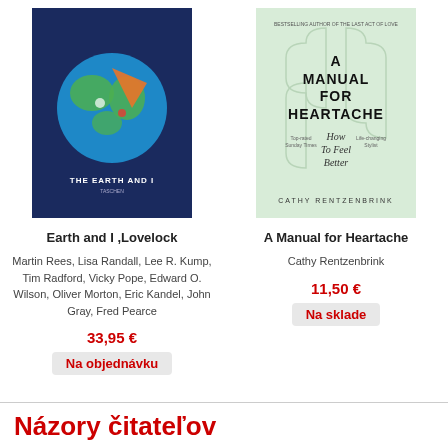[Figure (illustration): Book cover of 'The Earth and I' - dark navy blue background with a globe illustration showing continents with colorful icons and text 'THE EARTH AND I' at the bottom]
Earth and I ,Lovelock
Martin Rees, Lisa Randall, Lee R. Kump, Tim Radford, Vicky Pope, Edward O. Wilson, Oliver Morton, Eric Kandel, John Gray, Fred Pearce
33,95 €
Na objednávku
[Figure (illustration): Book cover of 'A Manual for Heartache' by Cathy Rentzenbrink - light mint/green background with puzzle piece design, title in bold black text, subtitle 'How To Feel Better', author name at bottom]
A Manual for Heartache
Cathy Rentzenbrink
11,50 €
Na sklade
Názory čitateľov